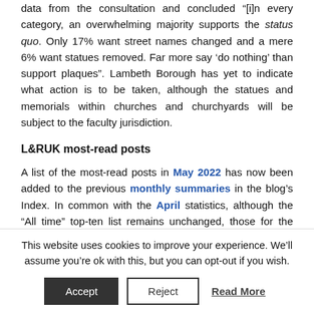data from the consultation and concluded "[i]n every category, an overwhelming majority supports the status quo. Only 17% want street names changed and a mere 6% want statues removed. Far more say ‘do nothing’ than support plaques". Lambeth Borough has yet to indicate what action is to be taken, although the statues and memorials within churches and churchyards will be subject to the faculty jurisdiction.
L&RUK most-read posts
A list of the most-read posts in May 2022 has now been added to the previous monthly summaries in the blog’s Index. In common with the April statistics, although the “All time” top-ten list remains unchanged, those for the previous week and for three last months include a
This website uses cookies to improve your experience. We’ll assume you’re ok with this, but you can opt-out if you wish.
Accept   Reject   Read More